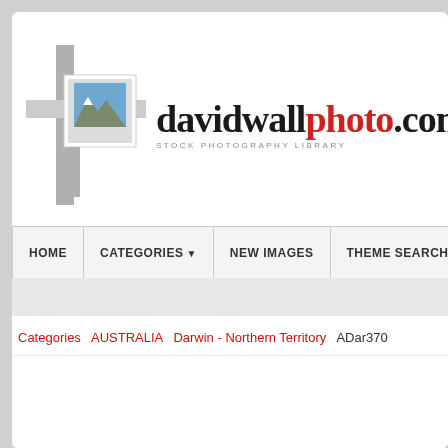[Figure (logo): davidwallphoto.com logo with mountain photo icon and text 'Stock Photography Library']
HOME  CATEGORIES  NEW IMAGES  THEME SEARCHES  LIG...
Categories  AUSTRALIA  Darwin - Northern Territory  ADar370